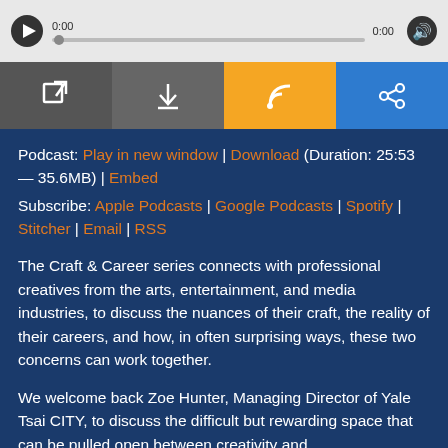[Figure (screenshot): Audio player bar with play button, progress bar showing 0:00, and volume icon]
[Figure (infographic): Four icon buttons: external link (dark gray), download (dark gray), RSS feed (orange), share (blue)]
Podcast: Play in new window | Download (Duration: 25:53 — 35.6MB) | Embed
Subscribe: Apple Podcasts | Google Podcasts | Spotify | Stitcher | Email | RSS
The Craft & Career series connects with professional creatives from the arts, entertainment, and media industries, to discuss the nuances of their craft, the reality of their careers, and how, in often surprising ways, these two concerns can work together.
We welcome back Zoe Hunter, Managing Director of Yale Tsai CITY, to discuss the difficult but rewarding space that can be pulled open between creativity and